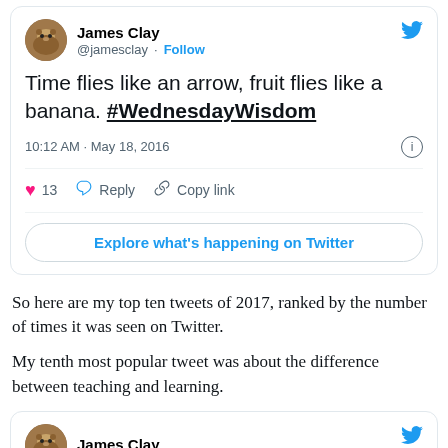[Figure (screenshot): Tweet card from @jamesclay showing tweet text 'Time flies like an arrow, fruit flies like a banana. #WednesdayWisdom' posted at 10:12 AM · May 18, 2016, with 13 likes, Reply, Copy link actions, and Explore what's happening on Twitter button]
So here are my top ten tweets of 2017, ranked by the number of times it was seen on Twitter.
My tenth most popular tweet was about the difference between teaching and learning.
[Figure (screenshot): Bottom of another tweet card from James Clay, partially visible]